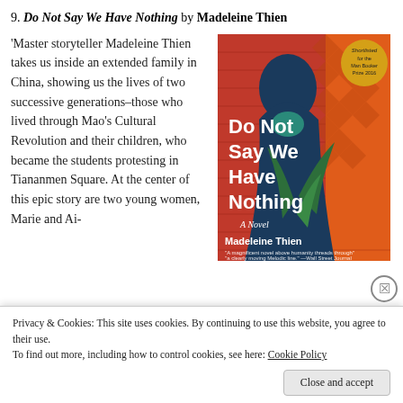9. Do Not Say We Have Nothing by Madeleine Thien
'Master storyteller Madeleine Thien takes us inside an extended family in China, showing us the lives of two successive generations–those who lived through Mao's Cultural Revolution and their children, who became the students protesting in Tiananmen Square. At the center of this epic story are two young women, Marie and Ai-
[Figure (photo): Book cover of 'Do Not Say We Have Nothing' by Madeleine Thien. Red and orange background with intricate patterns, silhouette of a person, green plant, and large white bold text reading 'Do Not Say We Have Nothing'. Yellow badge reads 'Shortlisted for the Man Booker Prize 2016'. Bottom text: 'A Novel' and 'Madeleine Thien'.]
Privacy & Cookies: This site uses cookies. By continuing to use this website, you agree to their use.
To find out more, including how to control cookies, see here: Cookie Policy
Close and accept